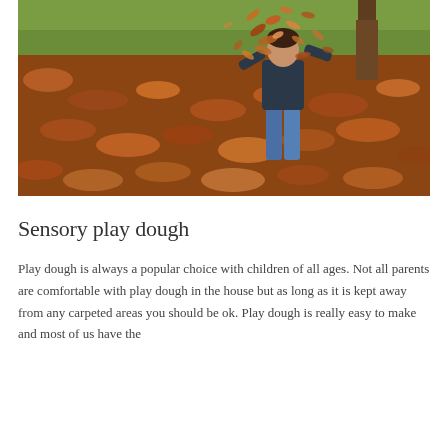[Figure (photo): A child tossing autumn leaves into the air in a park setting. The child is wearing jeans and a dark jacket. The ground is covered with brown and orange fall leaves, with green grass visible in the background.]
Sensory play dough
Play dough is always a popular choice with children of all ages. Not all parents are comfortable with play dough in the house but as long as it is kept away from any carpeted areas you should be ok. Play dough is really easy to make and most of us have the